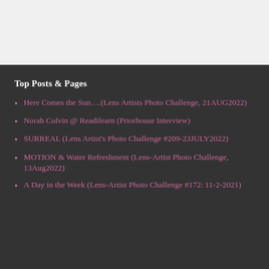Top Posts & Pages
Here Comes the Sun….(Lens Artists Photo Challenge, 21AUG2022)
Norah Colvin @ Readilearn (Priorhouse Interview)
SURREAL (Lens Artist's Photo Challenge #209-23JULY2022)
MOTION & Water Refreshment (Lens-Artist Photo Challenge, 13Aug2022)
A Day in the Week (Lens-Artist Photo Challenge #172: 11-2-2021)